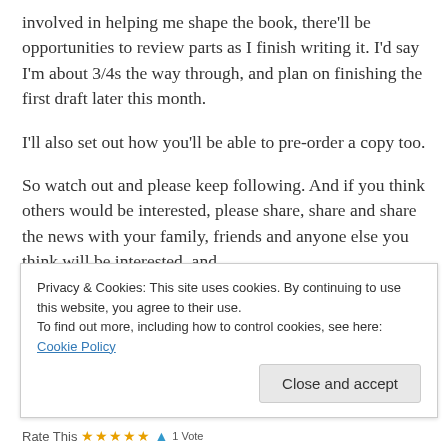involved in helping me shape the book, there'll be opportunities to review parts as I finish writing it. I'd say I'm about 3/4s the way through, and plan on finishing the first draft later this month.
I'll also set out how you'll be able to pre-order a copy too.
So watch out and please keep following. And if you think others would be interested, please share, share and share the news with your family, friends and anyone else you think will be interested, and
Privacy & Cookies: This site uses cookies. By continuing to use this website, you agree to their use.
To find out more, including how to control cookies, see here: Cookie Policy
Close and accept
Rate This ★★★★★ 1 Vote